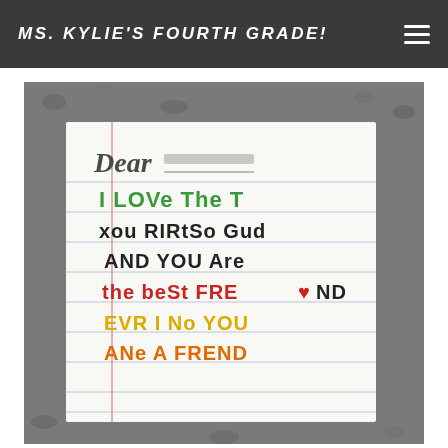MS. KYLIE'S FOURTH GRADE!
[Figure (photo): A photograph of a handwritten letter on lined paper, placed on a grey gravel surface. The letter reads: 'Dear [name redacted], I LOVe The T xou RIRtSo Gud AND YOU Are the BEST FRE[heart]ND EVR I No YOU ANe A FREND']